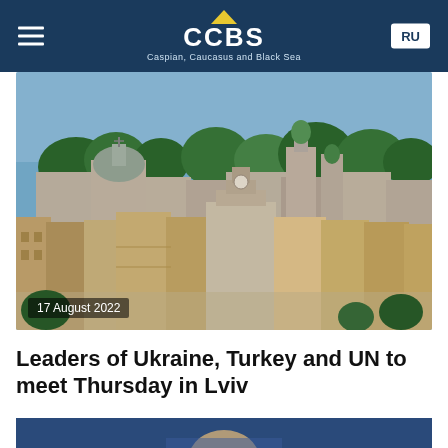CCBS — Caspian, Caucasus and Black Sea
[Figure (photo): Aerial view of Lviv city center with historic buildings, church domes, colorful rooftops, and lush green trees. Date stamp reads '17 August 2022'.]
Leaders of Ukraine, Turkey and UN to meet Thursday in Lviv
[Figure (photo): Partial view of a person at what appears to be a press conference or official event, blue background visible.]